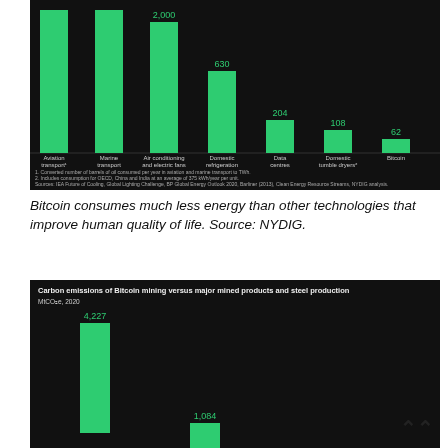[Figure (bar-chart): Energy consumption comparison (TWh)]
Bitcoin consumes much less energy than other technologies that improve human quality of life. Source: NYDIG.
[Figure (bar-chart): Carbon emissions of Bitcoin mining versus major mined products and steel production]